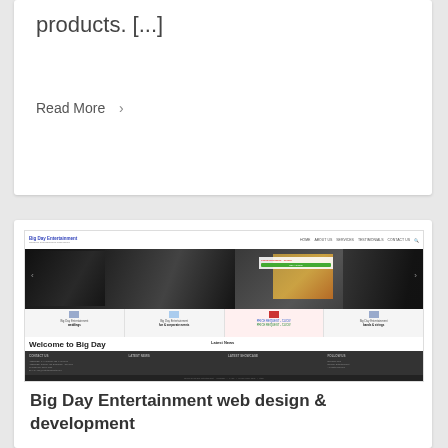products. [...]
Read More ›
[Figure (screenshot): Screenshot of the Big Day Entertainment website showing navigation, hero image with black and white party photos, service icons, welcome text, and dark footer]
Big Day Entertainment web design & development